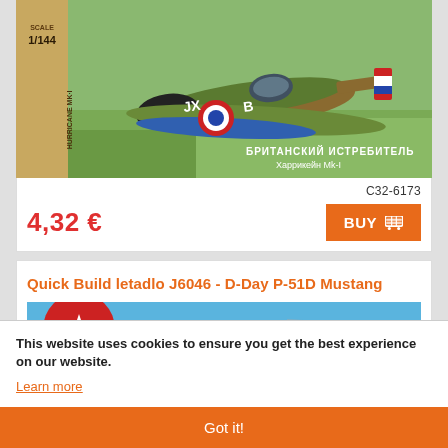[Figure (photo): Product box image of a 1/144 scale Hawker Hurricane Mk-I British fighter model kit (Zvezda) with Russian text БРИТАНСКИЙ ИСТРЕБИТЕЛЬ. The box art shows the plane with markings JX-B flying over green landscape.]
C32-6173
4,32 €
BUY
Quick Build letadlo J6046 - D-Day P-51D Mustang
[Figure (photo): Partial view of Airfix Quick Build product box with blue background and the Airfix logo (red semicircle with white aircraft silhouette) visible on the left.]
This website uses cookies to ensure you get the best experience on our website.
Learn more
Got it!